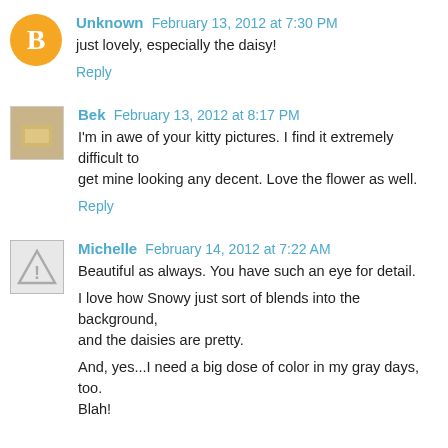Unknown February 13, 2012 at 7:30 PM
just lovely, especially the daisy!
Reply
Bek February 13, 2012 at 8:17 PM
I'm in awe of your kitty pictures. I find it extremely difficult to get mine looking any decent. Love the flower as well.
Reply
Michelle February 14, 2012 at 7:22 AM
Beautiful as always. You have such an eye for detail.
I love how Snowy just sort of blends into the background, and the daisies are pretty.
And, yes...I need a big dose of color in my gray days, too. Blah!